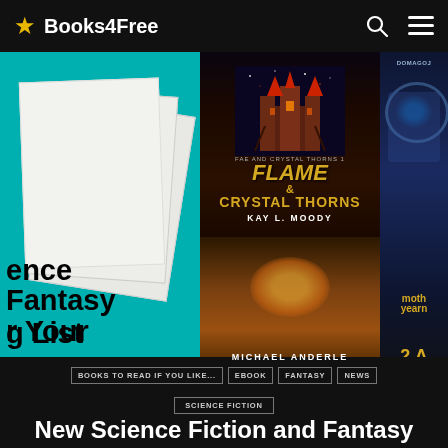Books4Free
[Figure (screenshot): Website screenshot of Books4Free showing a navigation bar with star logo and Books4Free branding, a hero carousel with book covers including 'Flame & Crystal Thorns' by Kay L. Moody and a partially visible steampunk book cover, overlaid text showing 'Science Fantasy for Your Reading List', category tags including BOOKS TO READ IF YOU LIKE..., EBOOK, FANTASY, NEWS, SCIENCE FICTION, and a bottom headline 'New Science Fiction and Fantasy']
New Science Fiction and Fantasy
BOOKS TO READ IF YOU LIKE...
EBOOK
FANTASY
NEWS
SCIENCE FICTION